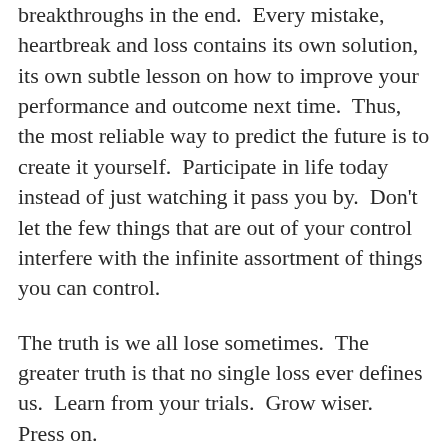breakthroughs in the end.  Every mistake, heartbreak and loss contains its own solution, its own subtle lesson on how to improve your performance and outcome next time.  Thus, the most reliable way to predict the future is to create it yourself.  Participate in life today instead of just watching it pass you by.  Don't let the few things that are out of your control interfere with the infinite assortment of things you can control.
The truth is we all lose sometimes.  The greater truth is that no single loss ever defines us.  Learn from your trials.  Grow wiser.  Press on.